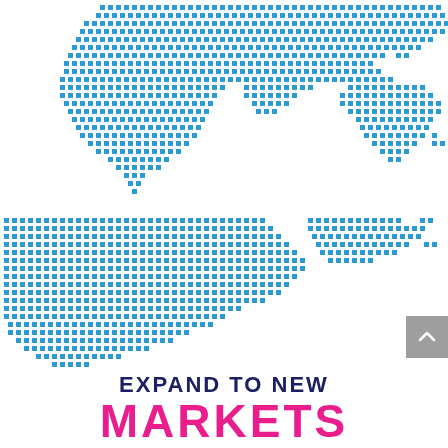[Figure (map): Dotted world map made of small blue squares/dots showing continents (Europe, Asia, Africa, Australia visible in top half; Americas visible in bottom half). The map is split across two vertical sections of the page with a white gap in the middle.]
EXPAND TO NEW MARKETS